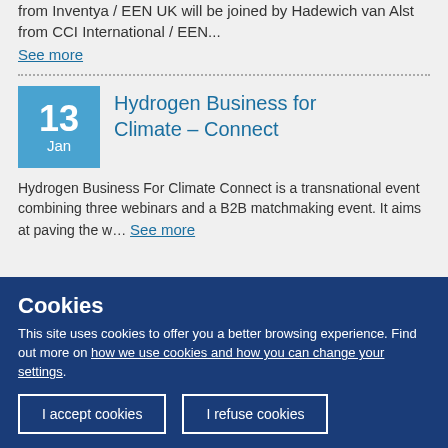from Inventya / EEN UK will be joined by Hadewich van Alst from CCI International / EEN...
See more
Hydrogen Business for Climate – Connect
Hydrogen Business For Climate Connect is a transnational event combining three webinars and a B2B matchmaking event. It aims at paving the w... See more
Cookies
This site uses cookies to offer you a better browsing experience. Find out more on how we use cookies and how you can change your settings.
I accept cookies
I refuse cookies